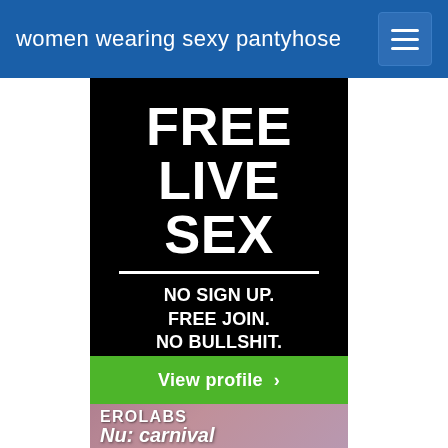women wearing sexy pantyhose
[Figure (screenshot): Advertisement banner: black background with large white bold text reading 'FREE LIVE SEX', horizontal white divider line, then 'NO SIGN UP. FREE JOIN. NO BULLSHIT.' in white bold text, followed by a green 'View profile >' button. Below is an EROLABS Nu: carnival anime game advertisement with illustrated characters on a pink/mauve background.]